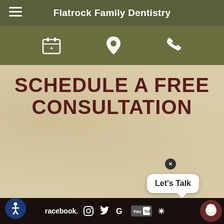Flatrock Family Dentistry
[Figure (screenshot): Navigation bar with hamburger menu icon on left, site title 'Flatrock Family Dentistry' centered, on dark olive background. Below: icon row with calendar/appointment icon, location pin icon, and phone icon in white on olive background.]
SCHEDULE A FREE CONSULTATION
Your Questions
Facebook Instagram Twitter Google YouTube Yelp